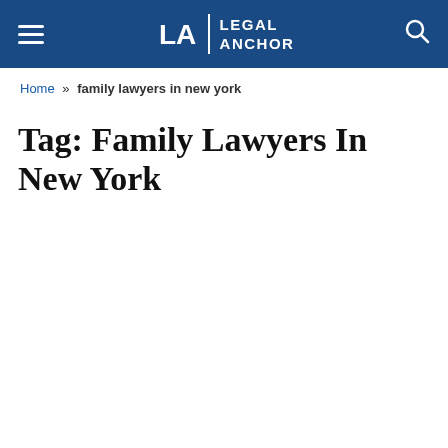Legal Anchor
Home » family lawyers in new york
Tag: Family Lawyers In New York